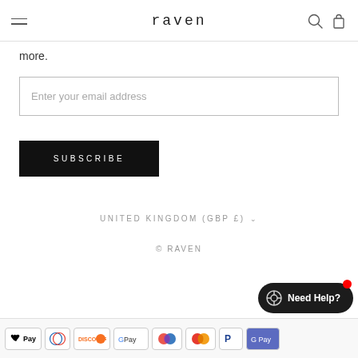raven
more.
Enter your email address
SUBSCRIBE
UNITED KINGDOM (GBP £)
© RAVEN
Need Help?
[Figure (other): Payment method icons: Apple Pay, Diners Club, Discover, Google Pay, Maestro, Mastercard, PayPal, Google Pay]